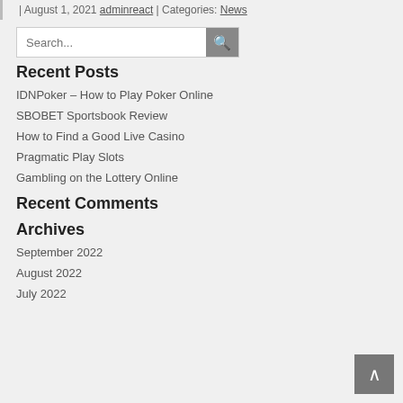| August 1, 2021 adminreact | Categories: News
Recent Posts
IDNPoker – How to Play Poker Online
SBOBET Sportsbook Review
How to Find a Good Live Casino
Pragmatic Play Slots
Gambling on the Lottery Online
Recent Comments
Archives
September 2022
August 2022
July 2022